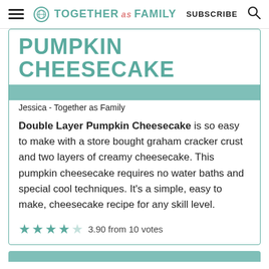TOGETHER as FAMILY  SUBSCRIBE
PUMPKIN CHEESECAKE
Jessica - Together as Family
Double Layer Pumpkin Cheesecake is so easy to make with a store bought graham cracker crust and two layers of creamy cheesecake. This pumpkin cheesecake requires no water baths and special cool techniques. It's a simple, easy to make, cheesecake recipe for any skill level.
3.90 from 10 votes